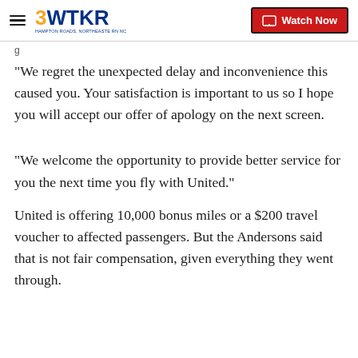3WTKR | Watch Now
"We regret the unexpected delay and inconvenience this caused you. Your satisfaction is important to us so I hope you will accept our offer of apology on the next screen.
"We welcome the opportunity to provide better service for you the next time you fly with United."
United is offering 10,000 bonus miles or a $200 travel voucher to affected passengers. But the Andersons said that is not fair compensation, given everything they went through.